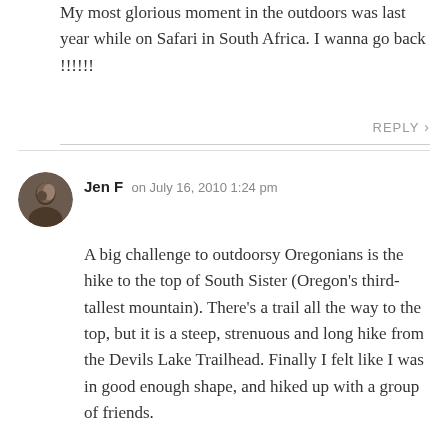My most glorious moment in the outdoors was last year while on Safari in South Africa. I wanna go back !!!!!!
REPLY ›
Jen F on July 16, 2010 1:24 pm
A big challenge to outdoorsy Oregonians is the hike to the top of South Sister (Oregon's third-tallest mountain). There's a trail all the way to the top, but it is a steep, strenuous and long hike from the Devils Lake Trailhead. Finally I felt like I was in good enough shape, and hiked up with a group of friends.
I had ONE glorious moment standing at the summit of before vertigo set in and I had to go hide in a wind shelter for a while. Then we hiked